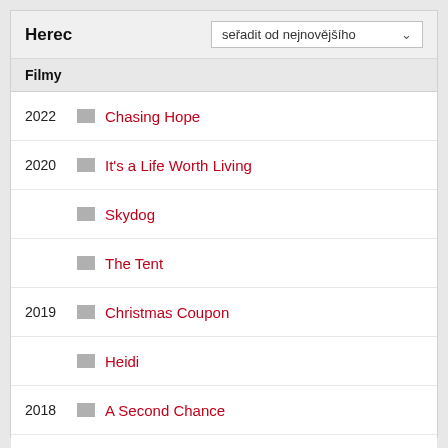Herec
seřadit od nejnovějšího
Filmy
2022  Chasing Hope
2020  It's a Life Worth Living
Skydog
The Tent
2019  Christmas Coupon
Heidi
2018  A Second Chance
2017  Courageous Love
Needlestick
Reklama